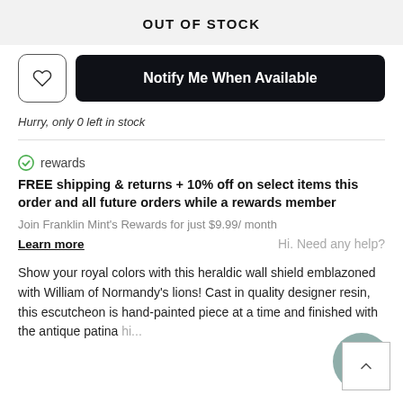OUT OF STOCK
Notify Me When Available
Hurry, only 0 left in stock
rewards
FREE shipping & returns + 10% off on select items this order and all future orders while a rewards member
Join Franklin Mint's Rewards for just $9.99/ month
Learn more
Hi. Need any help?
Show your royal colors with this heraldic wall shield emblazoned with William of Normandy's lions! Cast in quality designer resin, this escutcheon is hand-painted piece at a time and finished with the antique patina hi...